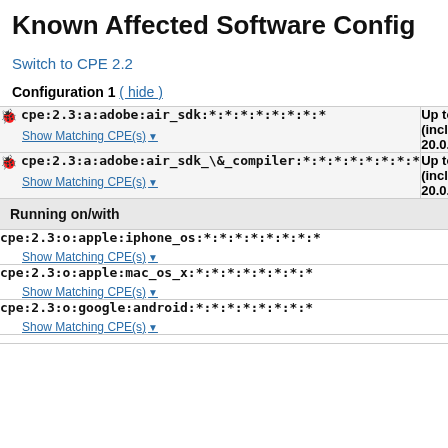Known Affected Software Config
Switch to CPE 2.2
Configuration 1 ( hide )
| CPE | Version Range |
| --- | --- |
| cpe:2.3:a:adobe:air_sdk:*:*:*:*:*:*:*:* | Up to (includ... 20.0.0. |
| cpe:2.3:a:adobe:air_sdk_\&_compiler:*:*:*:*:*:*:*:* | Up to (includ... 20.0.0. |
| Running on/with |  |
| cpe:2.3:o:apple:iphone_os:*:*:*:*:*:*:*:* |  |
| cpe:2.3:o:apple:mac_os_x:*:*:*:*:*:*:*:* |  |
| cpe:2.3:o:google:android:*:*:*:*:*:*:*:* |  |